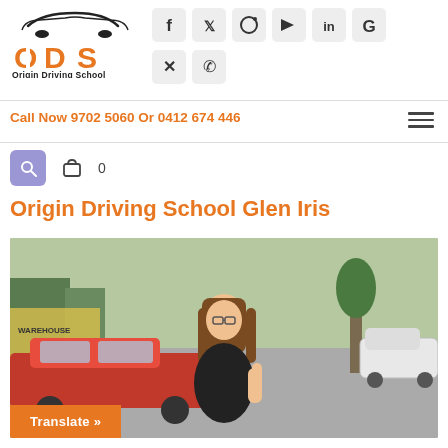[Figure (logo): ODS Origin Driving School logo with car silhouette above ODS text in orange and black]
[Figure (infographic): Social media icons: Facebook, Twitter, Instagram, YouTube, LinkedIn, Google, Email, Phone — in grey rounded square buttons]
Call Now 9702 5060 Or 0412 674 446
[Figure (infographic): Search icon button (purple background), cart icon with count 0]
Origin Driving School Glen Iris
[Figure (photo): A young woman with long brown hair and glasses standing next to a red car in a parking lot, wearing a black outfit, giving a thumbs up. A white car and trees visible in background. A 'Translate »' orange button overlays the bottom left.]